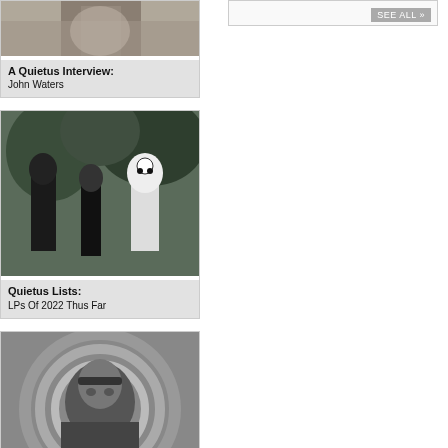[Figure (photo): Photo of John Waters, partially cropped at top]
A Quietus Interview:
John Waters
[Figure (photo): Black and white photo of people in masks and costumes outdoors]
Quietus Lists:
LPs Of 2022 Thus Far
[Figure (photo): Black and white photo of a person with headband in front of spiral background]
Reissue Of The Week:
Valentina Goncharova
[Figure (photo): Photo of person peeking around a door holding something]
[Figure (other): SEE ALL button box on right column]